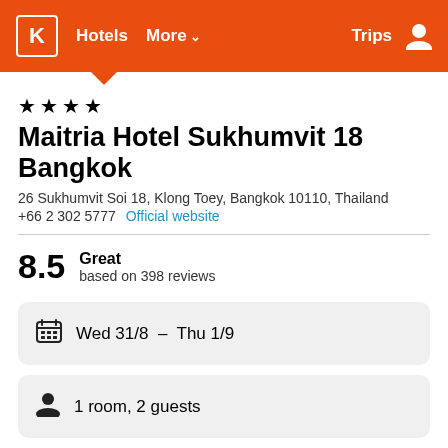K  Hotels  More ∨  Trips
★ ★ ★ ★
Maitria Hotel Sukhumvit 18 Bangkok
26 Sukhumvit Soi 18, Klong Toey, Bangkok 10110, Thailand
+66 2 302 5777  Official website
8.5  Great  based on 398 reviews
Wed 31/8 – Thu 1/9
1 room, 2 guests
Search